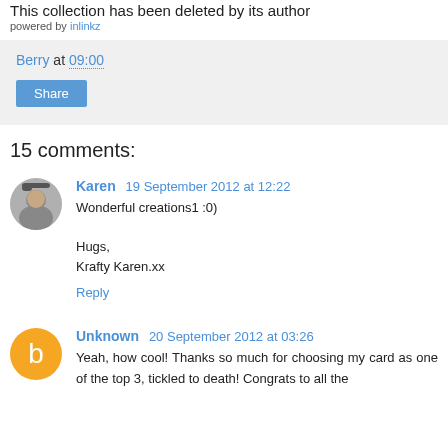This collection has been deleted by its author
powered by inlinkz
Berry at 09:00
Share
15 comments:
Karen 19 September 2012 at 12:22
Wonderful creations1 :0)

Hugs,
Krafty Karen.xx
Reply
Unknown 20 September 2012 at 03:26
Yeah, how cool! Thanks so much for choosing my card as one of the top 3, tickled to death! Congrats to all the